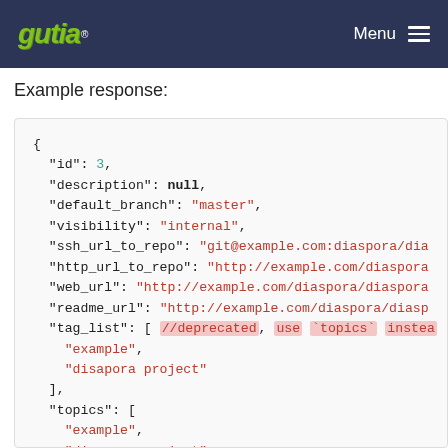gutia Menu
Example response:
{
  "id": 3,
  "description": null,
  "default_branch": "master",
  "visibility": "internal",
  "ssh_url_to_repo": "git@example.com:diaspora/dia
  "http_url_to_repo": "http://example.com/diaspora
  "web_url": "http://example.com/diaspora/diaspora
  "readme_url": "http://example.com/diaspora/diasp
  "tag_list": [ //deprecated, use `topics` instead
    "example",
    "disapora project"
  ],
  "topics": [
    "example",
    "disapora project"
  ],